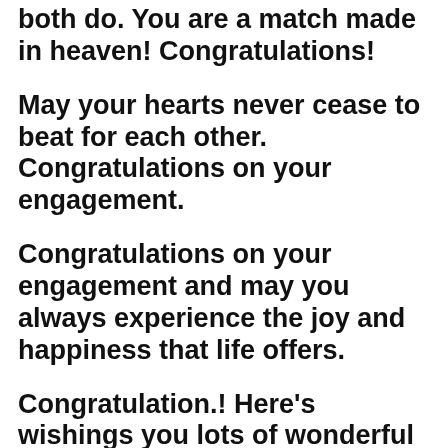both do. You are a match made in heaven! Congratulations!
May your hearts never cease to beat for each other. Congratulations on your engagement.
Congratulations on your engagement and may you always experience the joy and happiness that life offers.
Congratulation.! Here's wishings you lots of wonderful moments of togetherness.. Now & always